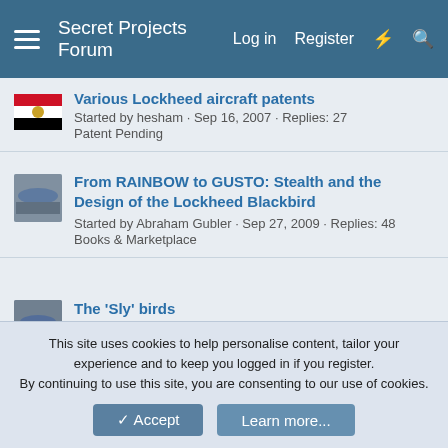Secret Projects Forum  Log in  Register
Various Lockheed aircraft patents
Started by hesham · Sep 16, 2007 · Replies: 27
Patent Pending
From RAINBOW to GUSTO: Stealth and the Design of the Lockheed Blackbird
Started by Abraham Gubler · Sep 27, 2009 · Replies: 48
Books & Marketplace
The 'Sly' birds
Started by Grey Havoc · Apr 30, 2011 · Replies: 2
Aviation & Space
One Woman's Mission to Rewrite Nazi History on Wikipedia
Started by X-39 · Feb 20, 2022 · Replies: 71
The Bar
John K. Northrop - The Development of All-Wing Aircraft
This site uses cookies to help personalise content, tailor your experience and to keep you logged in if you register.
By continuing to use this site, you are consenting to our use of cookies.